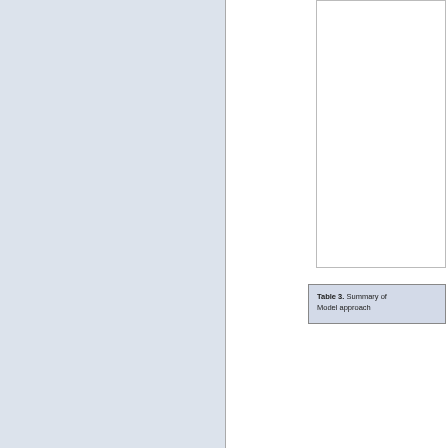[Figure (other): White rectangular box area (partial image/figure content) on right side of page]
Table 3. Summary of
Model approach
Through this, an emerging both the Archives Unleashed the broader ecosystem; humanities projects. It i Unleashed is located with important links to the digit social sciences, and co interviews and our own e build it, they will come" engagement to build relat The goal through dathon our tools that would cor